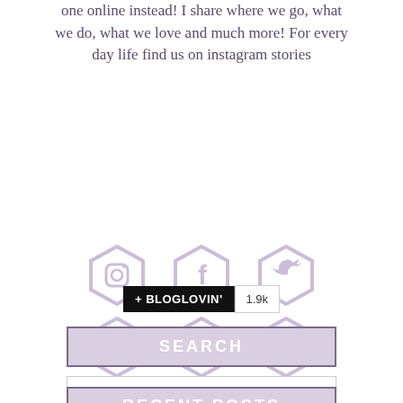one online instead! I share where we go, what we do, what we love and much more! For every day life find us on instagram stories
[Figure (illustration): Six hexagonal social media icons in two rows: Instagram, Facebook, Twitter (top row); Pinterest, YouTube, Email (bottom row). Icons are light lavender/purple color.]
[Figure (illustration): Bloglovin follow button: black button with '+ BLOGLOVIN'' text and a white count badge showing '1.9k']
SEARCH
Search ...
RECENT POSTS